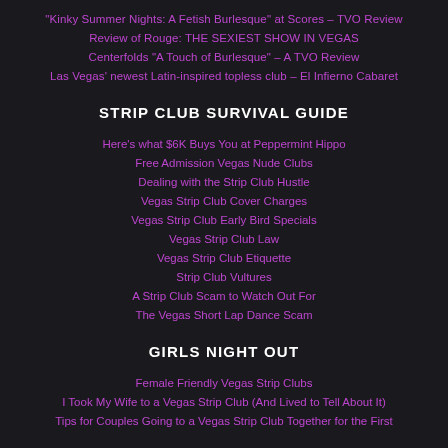“Kinky Summer Nights: A Fetish Burlesque” at Scores – TVO Review
Review of Rouge: THE SEXIEST SHOW IN VEGAS
Centerfolds “A Touch of Burlesque” – A TVO Review
Las Vegas’ newest Latin-inspired topless club – El Infierno Cabaret
STRIP CLUB SURVIVAL GUIDE
Here’s what $6K Buys You at Peppermint Hippo
Free Admission Vegas Nude Clubs
Dealing with the Strip Club Hustle
Vegas Strip Club Cover Charges
Vegas Strip Club Early Bird Specials
Vegas Strip Club Law
Vegas Strip Club Etiquette
Strip Club Vultures
A Strip Club Scam to Watch Out For
The Vegas Short Lap Dance Scam
GIRLS NIGHT OUT
Female Friendly Vegas Strip Clubs
I Took My Wife to a Vegas Strip Club (And Lived to Tell About It)
Tips for Couples Going to a Vegas Strip Club Together for the First